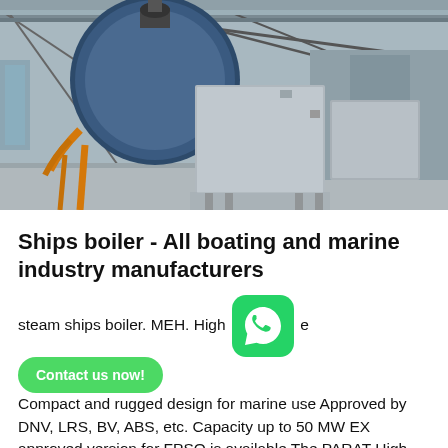[Figure (photo): Industrial warehouse interior showing large marine boilers/vessels. A large dark blue cylindrical boiler is visible on the left with orange pipes, and grey rectangular equipment units are in the center and right, all inside a steel-frame building with skylights.]
Ships boiler - All boating and marine industry manufacturers
steam ships boiler. MEH. High [WhatsApp icon] e [Contact us now! button] Compact and rugged design for marine use Approved by DNV, LRS, BV, ABS, etc. Capacity up to 50 MW EX approved version for FPSO is available The PARAT High...
Get Price